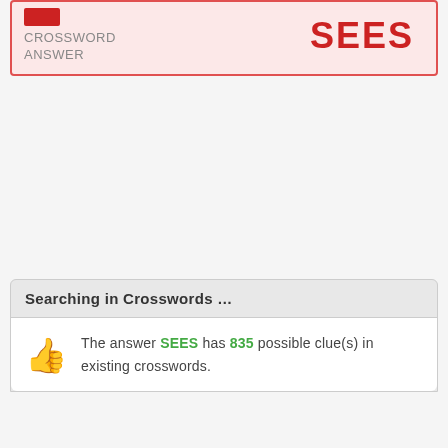CROSSWORD ANSWER — SEES
Searching in Crosswords …
The answer SEES has 835 possible clue(s) in existing crosswords.